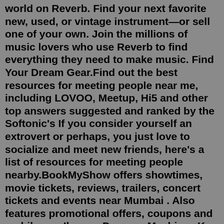world on Reverb. Find your next favorite new, used, or vintage instrument—or sell one of your own. Join the millions of music lovers who use Reverb to find everything they need to make music. Find Your Dream Gear.Find out the best resources for meeting people near me, including LOVOO, Meetup, Hi5 and other top answers suggested and ranked by the Softonic's If you consider yourself an extrovert or perhaps, you just love to socialize and meet new friends, here's a list of resources for meeting people nearby.BookMyShow offers showtimes, movie tickets, reviews, trailers, concert tickets and events near Mumbai . Also features promotional offers, coupons and mobile app.Ikemen Domoyo Meshi wo Kue (2022). A Cappella. Ocean Likes Me Move (2022).SCHEDULE & TICKETS 2022/2023. BroadwayMusicals.us is the most comprehensive source for Broadway shows and musicals in Los Angeles. View the schedule of current and upcoming Broadway productions 2022/2023. Get tickets from the official ticket seller and enjoy your show worry-